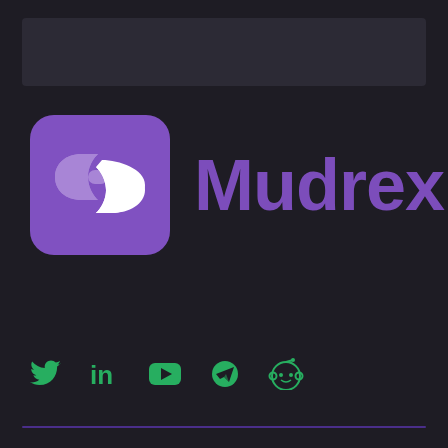[Figure (logo): Mudrex logo with purple rounded-square icon containing interlocked chain links in white/light purple, and the text 'Mudrex' in bold purple to the right]
[Figure (infographic): Social media icons row: Twitter bird, LinkedIn 'in', YouTube play button, Telegram paper plane, Reddit alien — all in green color]